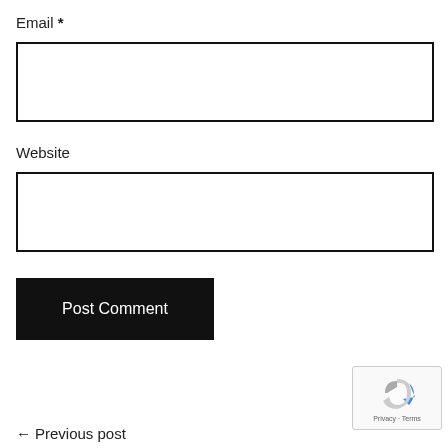Email *
[Figure (screenshot): Empty email text input field with black border]
Website
[Figure (screenshot): Empty website text input field with black border]
[Figure (screenshot): Black Post Comment button]
[Figure (screenshot): Google reCAPTCHA badge with Privacy and Terms text]
← Previous post